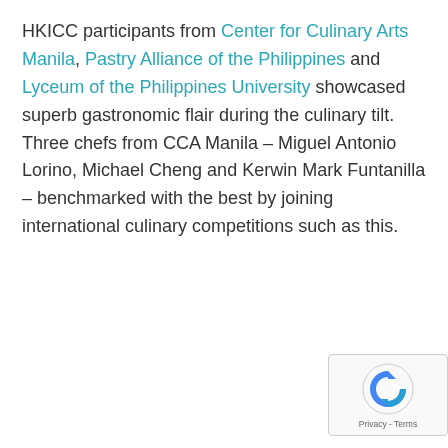HKICC participants from Center for Culinary Arts Manila, Pastry Alliance of the Philippines and Lyceum of the Philippines University showcased superb gastronomic flair during the culinary tilt. Three chefs from CCA Manila – Miguel Antonio Lorino, Michael Cheng and Kerwin Mark Funtanilla – benchmarked with the best by joining international culinary competitions such as this.
[Figure (other): reCAPTCHA badge with Privacy and Terms links]